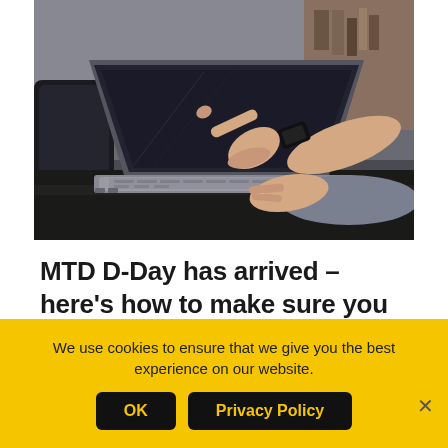[Figure (photo): Two people's hands over a laptop — one person pointing at the screen with index finger, the other typing on the keyboard, person pointing wearing a black wristwatch.]
MTD D-Day has arrived – here's how to make sure you comply
We use cookies to ensure that we give you the best experience on our website.
OK   Privacy Policy